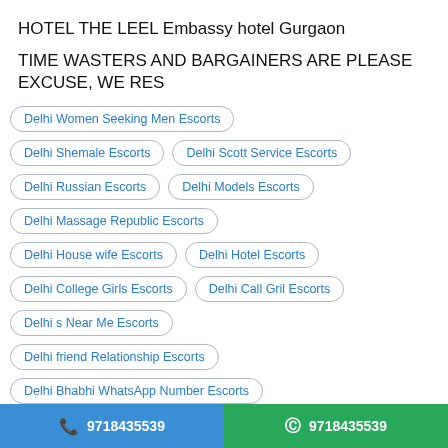HOTEL THE LEEL Embassy hotel Gurgaon
TIME WASTERS AND BARGAINERS ARE PLEASE EXCUSE, WE RES
Delhi Women Seeking Men Escorts
Delhi Shemale Escorts
Delhi Scott Service Escorts
Delhi Russian Escorts
Delhi Models Escorts
Delhi Massage Republic Escorts
Delhi House wife Escorts
Delhi Hotel Escorts
Delhi College Girls Escorts
Delhi Call Gril Escorts
Delhi s Near Me Escorts
Delhi friend Relationship Escorts
Delhi Bhabhi WhatsApp Number Escorts
Delhi Hotel Rooms Escorts
Delhi Busty Escorts
9718435539  9718435539